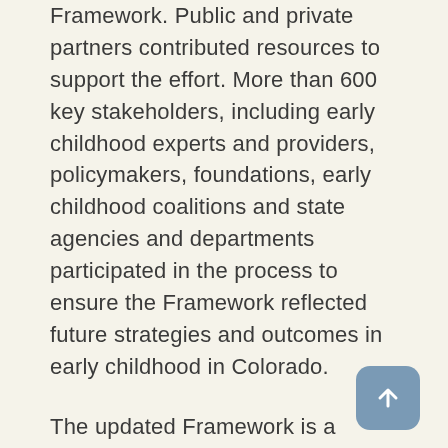Framework. Public and private partners contributed resources to support the effort. More than 600 key stakeholders, including early childhood experts and providers, policymakers, foundations, early childhood coalitions and state agencies and departments participated in the process to ensure the Framework reflected future strategies and outcomes in early childhood in Colorado.
The updated Framework is a shared vision for early childhood in Colorado across early learning and development, health and well-being and family support and education. The plan incorporates the latest research in early childhood, including the importance of early